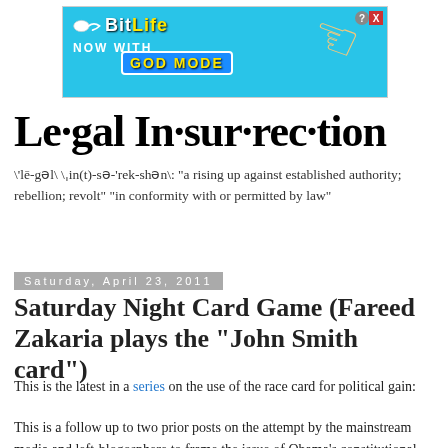[Figure (screenshot): BitLife advertisement banner with blue background, sperm logo, 'NOW WITH GOD MODE' text, pointing hand graphic, and close/help buttons]
Le·gal In·sur·rec·tion
\ˈlē-gəl\ \ˌin(t)-sə-ˈrek-shən\: "a rising up against established authority; rebellion; revolt" "in conformity with or permitted by law"
Saturday, April 23, 2011
Saturday Night Card Game (Fareed Zakaria plays the "John Smith card")
This is the latest in a series on the use of the race card for political gain:
This is a follow up to two prior posts on the attempt by the mainstream media and left-blogosphere to frame the issue of Obama's constitutional qualification to be President as